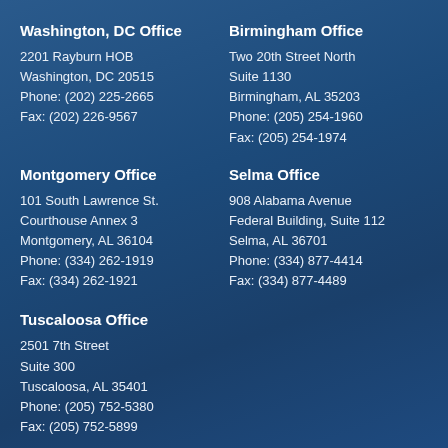Washington, DC Office
2201 Rayburn HOB
Washington, DC 20515
Phone: (202) 225-2665
Fax: (202) 226-9567
Birmingham Office
Two 20th Street North
Suite 1130
Birmingham, AL 35203
Phone: (205) 254-1960
Fax: (205) 254-1974
Montgomery Office
101 South Lawrence St.
Courthouse Annex 3
Montgomery, AL 36104
Phone: (334) 262-1919
Fax: (334) 262-1921
Selma Office
908 Alabama Avenue
Federal Building, Suite 112
Selma, AL 36701
Phone: (334) 877-4414
Fax: (334) 877-4489
Tuscaloosa Office
2501 7th Street
Suite 300
Tuscaloosa, AL 35401
Phone: (205) 752-5380
Fax: (205) 752-5899